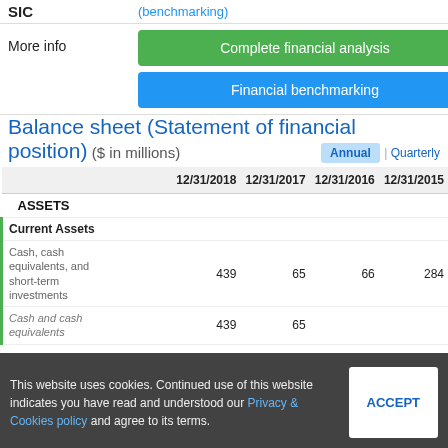SIC
(benchmarking)
More info
Complete financial analysis
Financial benchmarking
Balance sheet (Statement of financial position) ($ in millions)
|  | 12/31/2018 | 12/31/2017 | 12/31/2016 | 12/31/2015 |
| --- | --- | --- | --- | --- |
| ASSETS |  |  |  |  |
| Current Assets |  |  |  |  |
| Cash, cash equivalents, and short-term investments | 439 | 65 | 66 | 284 |
| Cash and cash equivalents | 439 | 65 |  |  |
This website uses cookies. Continued use of this website indicates you have read and understood our Privacy & Cookies policy and agree to its terms.